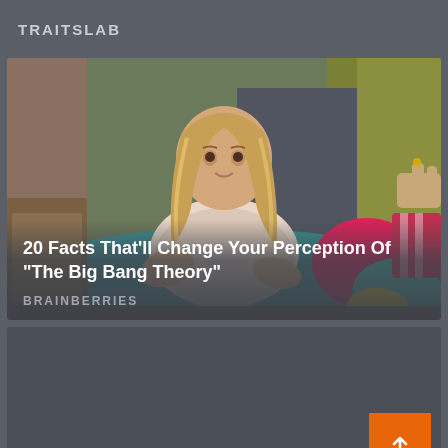TRAITSLAB
[Figure (screenshot): Screenshot of a website card showing a woman sitting on a teal couch from The Big Bang Theory TV show]
20 Facts That'll Change Your Perception Of "The Big Bang Theory"
BRAINBERRIES